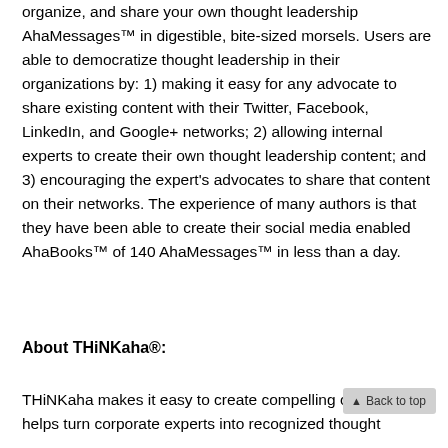organize, and share your own thought leadership AhaMessages™ in digestible, bite-sized morsels. Users are able to democratize thought leadership in their organizations by: 1) making it easy for any advocate to share existing content with their Twitter, Facebook, LinkedIn, and Google+ networks; 2) allowing internal experts to create their own thought leadership content; and 3) encouraging the expert's advocates to share that content on their networks. The experience of many authors is that they have been able to create their social media enabled AhaBooks™ of 140 AhaMessages™ in less than a day.
About THiNKaha®:
THiNKaha makes it easy to create compelling content that helps turn corporate experts into recognized thought